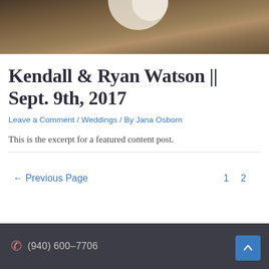[Figure (photo): Partial wedding photo showing dried grass/field background with what appears to be white fabric (dress) at top, cropped]
Kendall & Ryan Watson || Sept. 9th, 2017
Leave a Comment / Weddings / By Jana Osborn
This is the excerpt for a featured content post.
← Previous Page
1  2
(940) 600-7706